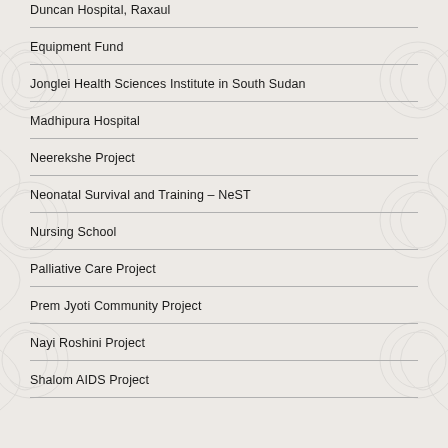Duncan Hospital, Raxaul
Equipment Fund
Jonglei Health Sciences Institute in South Sudan
Madhipura Hospital
Neerekshe Project
Neonatal Survival and Training – NeST
Nursing School
Palliative Care Project
Prem Jyoti Community Project
Nayi Roshini Project
Shalom AIDS Project